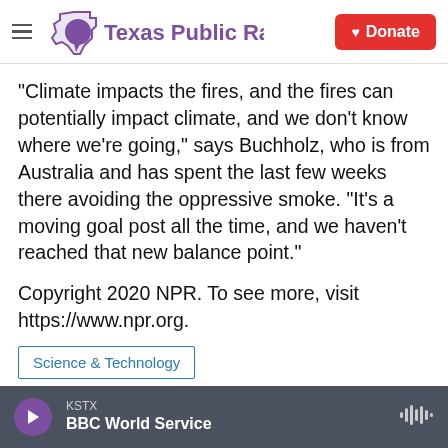[Figure (logo): Texas Public Radio logo with purple Texas state outline and speech bubble icon, and a red Donate button with heart icon in the header]
"Climate impacts the fires, and the fires can potentially impact climate, and we don't know where we're going," says Buchholz, who is from Australia and has spent the last few weeks there avoiding the oppressive smoke. "It's a moving goal post all the time, and we haven't reached that new balance point."
Copyright 2020 NPR. To see more, visit https://www.npr.org.
Science & Technology
KSTX BBC World Service